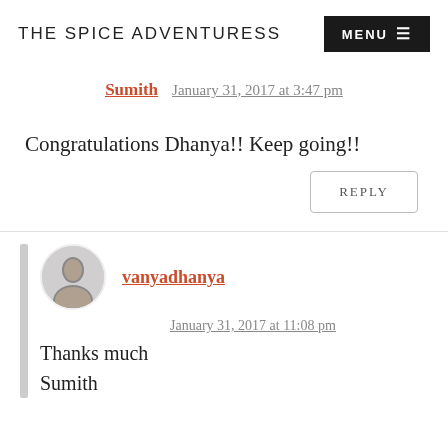THE SPICE ADVENTURESS | MENU
Sumith   January 31, 2017 at 3:47 pm
Congratulations Dhanya!! Keep going!!
REPLY
vanyadhanya
January 31, 2017 at 11:08 pm
Thanks much Sumith